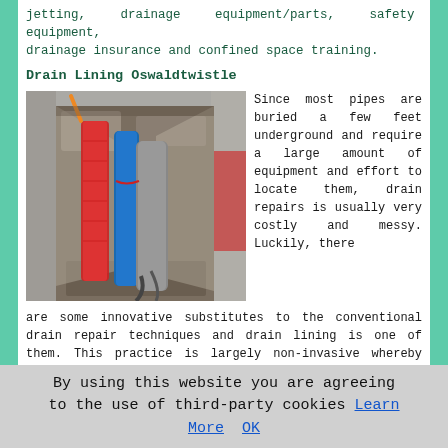jetting, drainage equipment/parts, safety equipment, drainage insurance and confined space training.
Drain Lining Oswaldtwistle
[Figure (photo): Photograph of an excavated area showing exposed pipes including red, blue, and grey pipes in rubble and dirt, with red painted markings on surrounding pavement.]
Since most pipes are buried a few feet underground and require a large amount of equipment and effort to locate them, drain repairs is usually very costly and messy. Luckily, there are some innovative substitutes to the conventional drain repair techniques and drain lining is one of them. This practice is largely non-invasive whereby the repair is conducted without the need to dig and the patching is carried out from the inside of the drainpipe itself. There's virtually no excavation or heavy equipment
By using this website you are agreeing to the use of third-party cookies Learn More OK